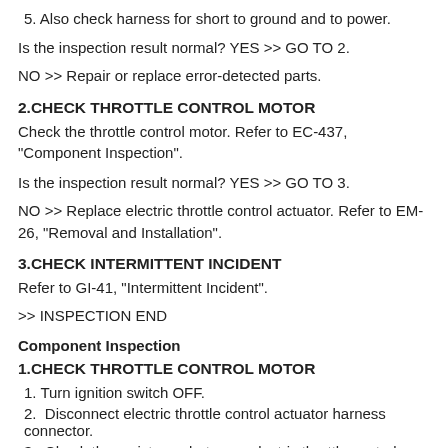5. Also check harness for short to ground and to power.
Is the inspection result normal? YES >> GO TO 2.
NO >> Repair or replace error-detected parts.
2.CHECK THROTTLE CONTROL MOTOR
Check the throttle control motor. Refer to EC-437, "Component Inspection".
Is the inspection result normal? YES >> GO TO 3.
NO >> Replace electric throttle control actuator. Refer to EM-26, "Removal and Installation".
3.CHECK INTERMITTENT INCIDENT
Refer to GI-41, "Intermittent Incident".
>> INSPECTION END
Component Inspection
1.CHECK THROTTLE CONTROL MOTOR
1. Turn ignition switch OFF.
2.  Disconnect electric throttle control actuator harness connector.
3.  Check the resistance between electric throttle control actuator